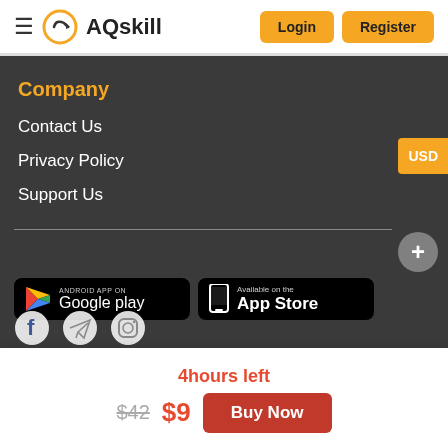AQskill — Login | Register
Company
Contact Us
Privacy Policy
Support Us
[Figure (logo): Google Play badge]
[Figure (logo): App Store badge]
4hours left
$42 $9 Buy Now